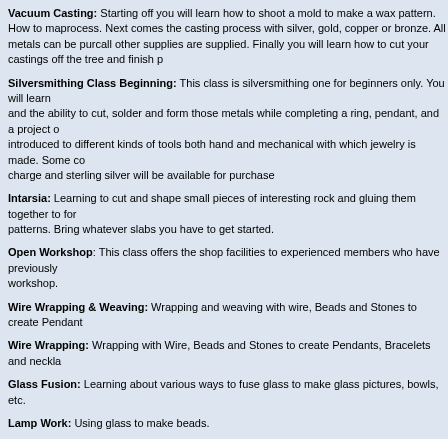Vacuum Casting: Starting off you will learn how to shoot a mold to make a wax pattern. How to make the process. Next comes the casting process with silver, gold, copper or bronze. All metals can be purchased and all other supplies are supplied. Finally you will learn how to cut your castings off the tree and finish p...
Silversmithing Class Beginning: This class is silversmithing one for beginners only. You will learn and the ability to cut, solder and form those metals while completing a ring, pendant, and a project o... introduced to different kinds of tools both hand and mechanical with which jewelry is made. Some co... charge and sterling silver will be available for purchase
Intarsia: Learning to cut and shape small pieces of interesting rock and gluing them together to form patterns. Bring whatever slabs you have to get started.
Open Workshop: This class offers the shop facilities to experienced members who have previously workshop.
Wire Wrapping & Weaving: Wrapping and weaving with wire, Beads and Stones to create Pendant...
Wire Wrapping: Wrapping with Wire, Beads and Stones to create Pendants, Bracelets and neckla...
Glass Fusion: Learning about various ways to fuse glass to make glass pictures, bowls, etc.
Lamp Work: Using glass to make beads.
Fees for the classes range from $35 to $65. Open workshop time for a fee to members who have demonstrated experience with the equipment. The monthly general membership meeting is held o...